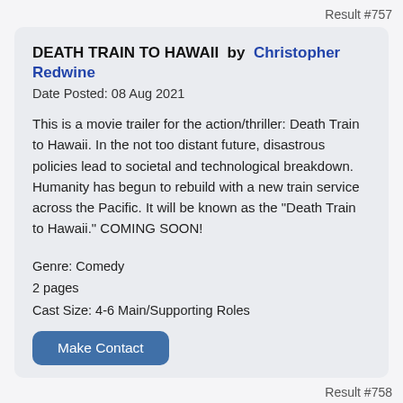Result #757
DEATH TRAIN TO HAWAII  by  Christopher Redwine
Date Posted: 08 Aug 2021
This is a movie trailer for the action/thriller: Death Train to Hawaii. In the not too distant future, disastrous policies lead to societal and technological breakdown. Humanity has begun to rebuild with a new train service across the Pacific. It will be known as the "Death Train to Hawaii." COMING SOON!
Genre: Comedy
2 pages
Cast Size: 4-6 Main/Supporting Roles
Make Contact
Result #758